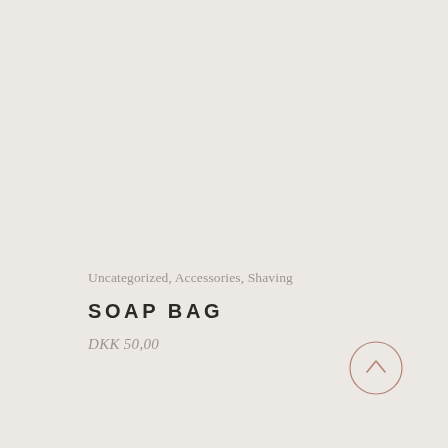Uncategorized, Accessories, Shaving
SOAP BAG
DKK 50,00
[Figure (illustration): Circle button with upward chevron arrow in muted rose/terracotta color, positioned bottom-right]